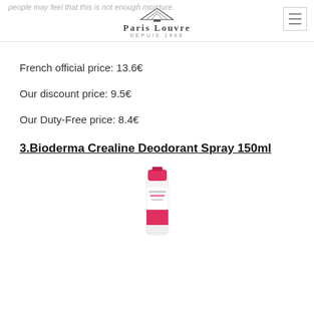people may feel that this is not enough moisture.
French official price: 13.6€
Our discount price: 9.5€
Our Duty-Free price: 8.4€
3.Bioderma Crealine Deodorant Spray 150ml
[Figure (photo): Bioderma Crealine Deodorant Spray 150ml product image — a white and pink aerosol can with red cap and Bioderma branding label]